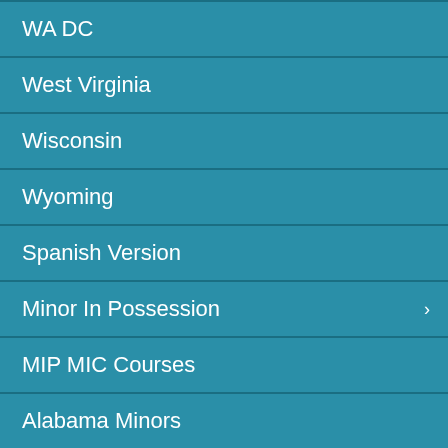WA DC
West Virginia
Wisconsin
Wyoming
Spanish Version
Minor In Possession  ›
MIP MIC Courses
Alabama Minors
Alaska Minors
Arizona Minors